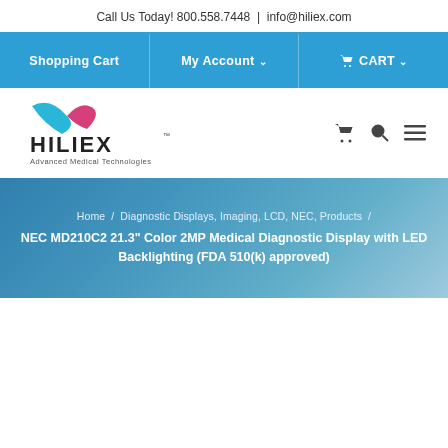Call Us Today! 800.558.7448 | info@hiliex.com
Shopping Cart  |  My Account  |  CART
[Figure (logo): HILIEX Advanced Medical Technologies logo with blue and pink swoosh graphic]
Home / Diagnostic Displays, Imaging, LCD, NEC, Products / NEC MD210C2 21.3" Color 2MP Medical Diagnostic Display with LED Backlighting (FDA 510(k) approved)